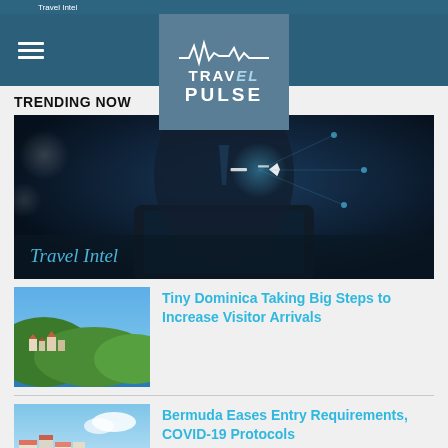Travel Intel
[Figure (logo): Travel Pulse logo with waveform graphic on steel blue background]
TRENDING NOW
[Figure (photo): Hero image: person in suit holding digital tablet with holographic airplane, dark blue tech background. Caption overlay: Travel Intel]
Travel Intel
[Figure (photo): Thumbnail: coastal town with green hills and blue sea — Dominica]
Tiny Dominica Taking Big Steps to Increase Visitor Arrivals
[Figure (photo): Thumbnail: Bermuda harbor with colorful buildings and clear blue water]
Bermuda Eases Entry Requirements, COVID-19 Protocols
[Figure (photo): Thumbnail: Spirit Airlines yellow aircraft]
Spirit Airlines Reveals Record-Setting Summer Flight Performance